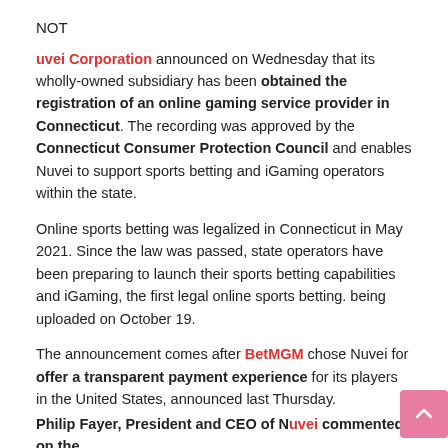NOT
uvei Corporation announced on Wednesday that its wholly-owned subsidiary has been obtained the registration of an online gaming service provider in Connecticut. The recording was approved by the Connecticut Consumer Protection Council and enables Nuvei to support sports betting and iGaming operators within the state.
Online sports betting was legalized in Connecticut in May 2021. Since the law was passed, state operators have been preparing to launch their sports betting capabilities and iGaming, the first legal online sports betting. being uploaded on October 19.
The announcement comes after BetMGM chose Nuvei for offer a transparent payment experience for its players in the United States, announced last Thursday.
Philip Fayer, President and CEO of Nuvei commented on the